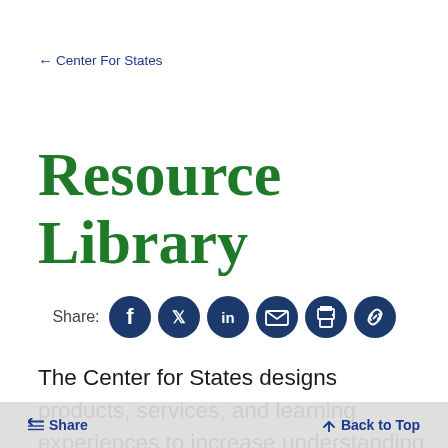← Center For States
Resource Library
[Figure (other): Share icons row: Share label followed by Facebook, Twitter, LinkedIn, Email, Print, and Link icon buttons, all in dark navy circles]
The Center for States designs products, services, and learning experiences to increase understanding and awareness, and build knowledge and skills. The
Share   Back to Top